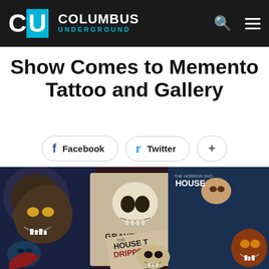Columbus Underground
Show Comes to Memento Tattoo and Gallery
Facebook  Twitter  +
[Figure (photo): Horror movie poster artwork collage featuring painted VHS-style covers including werewolf, skull (Graveyard), The House That Dripped, The Horror Show House, and other horror imagery with faces of monsters and victims]